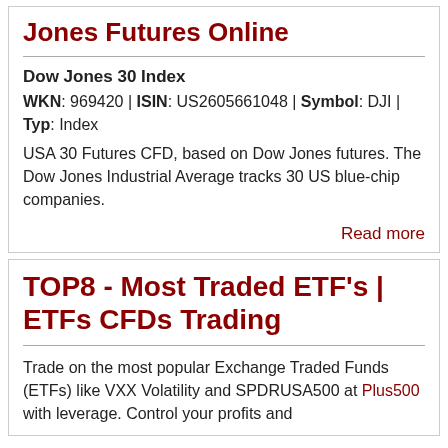Jones Futures Online
Dow Jones 30 Index
WKN: 969420 | ISIN: US2605661048 | Symbol: DJI | Typ: Index
USA 30 Futures CFD, based on Dow Jones futures. The Dow Jones Industrial Average tracks 30 US blue-chip companies.
Read more
TOP8 - Most Traded ETF's | ETFs CFDs Trading
Trade on the most popular Exchange Traded Funds (ETFs) like VXX Volatility and SPDRUSA500 at Plus500 with leverage. Control your profits and